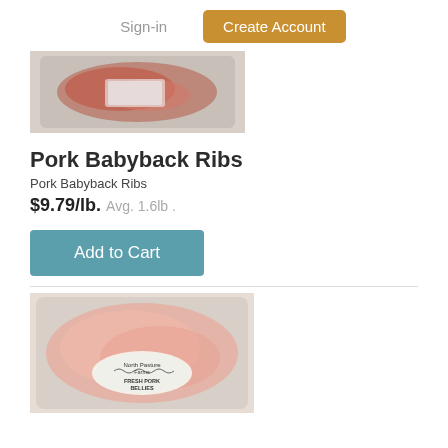Sign-in  Create Account
[Figure (photo): Packaged pork babyback ribs in vacuum sealed plastic wrap, partially visible at top of page]
Pork Babyback Ribs
Pork Babyback Ribs
$9.79/lb.  Avg. 1.6lb .
Add to Cart
[Figure (photo): Packaged fresh pork bellies in vacuum sealed plastic wrap with a North Pasture Farms label reading FRESH PORK BELLIES]